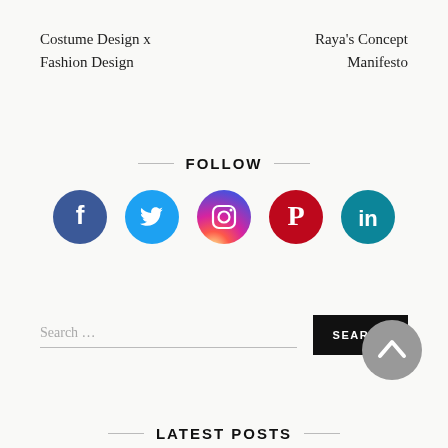Costume Design x Fashion Design
Raya's Concept Manifesto
FOLLOW
[Figure (infographic): Five social media icons in a row: Facebook (dark blue), Twitter (light blue), Instagram (gradient pink/purple/orange), Pinterest (red), LinkedIn (teal/blue)]
Search …
SEARCH
[Figure (other): Gray circular scroll-to-top button with upward chevron arrow]
LATEST POSTS